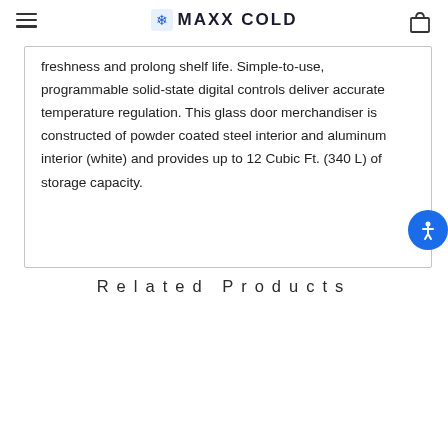MAXX COLD
freshness and prolong shelf life. Simple-to-use, programmable solid-state digital controls deliver accurate temperature regulation. This glass door merchandiser is constructed of powder coated steel interior and aluminum interior (white) and provides up to 12 Cubic Ft. (340 L) of storage capacity.
Related Products